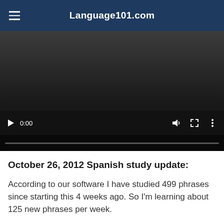Language101.com
[Figure (screenshot): Embedded video player showing a dark/black video frame with playback controls at the bottom including a play button, time display showing 0:00, volume icon, fullscreen icon, and options icon, with a progress bar at the bottom.]
October 26, 2012 Spanish study update:
According to our software I have studied 499 phrases since starting this 4 weeks ago. So I’m learning about 125 new phrases per week.
Since these are well chosen phrases, that’s excellent